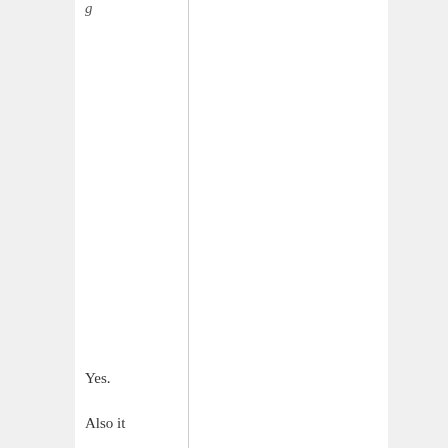g They are ranked 100th by FIFA
Yes.
Also it